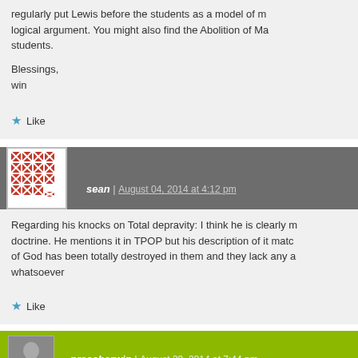regularly put Lewis before the students as a model of logical argument. You might also find the Abolition of M... students.
Blessings,
win
Like
sean | August 04, 2014 at 4:12 pm
Regarding his knocks on Total depravity: I think he is clearly m... doctrine. He mentions it in TPOP but his description of it matc... of God has been totally destroyed in them and they lack any a... whatsoever
Like
preacherwin | August 29, 2014 at 7:44 pm